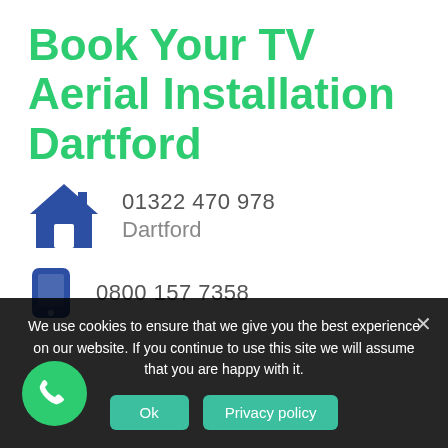Book Your TV Aerial Installation Dartford
01322 470 978
Dartford
0800 157 7358
We use cookies to ensure that we give you the best experience on our website. If you continue to use this site we will assume that you are happy with it.